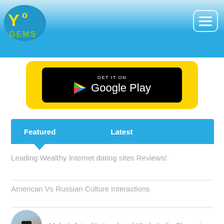YoGems - logo and navigation
[Figure (logo): YoGems logo with blue brushstroke background, yellow Y and O letters, green GEMS text]
[Figure (screenshot): Get it on Google Play banner with yellow background and black Google Play button with play triangle icon]
Featured   Latest
Leading Wealthy Internet dating sites Reviews!
American Vs Russian Culture Interactions
Mahak Jain: National and Khelo India Champion